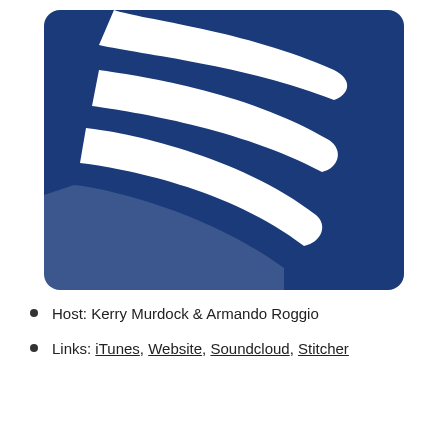[Figure (logo): Blue square logo with white curved stripe shapes resembling open book pages or curved fins, on a dark blue background with rounded corners.]
Host: Kerry Murdock & Armando Roggio
Links: iTunes, Website, Soundcloud, Stitcher